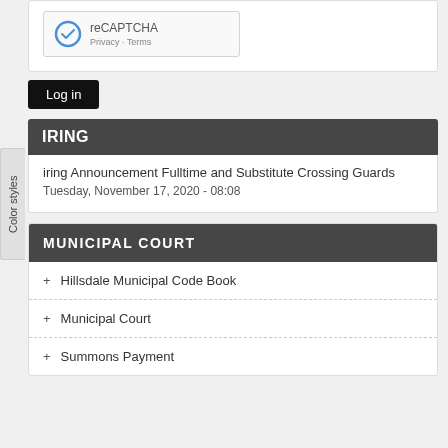[Figure (screenshot): reCAPTCHA widget with checkbox icon, text 'reCAPTCHA', and 'Privacy - Terms' links]
Log in
Color styles
HIRING
Hiring Announcement Fulltime and Substitute Crossing Guards
Tuesday, November 17, 2020 - 08:08
MUNICIPAL COURT
+ Hillsdale Municipal Code Book
+ Municipal Court
+ Summons Payment